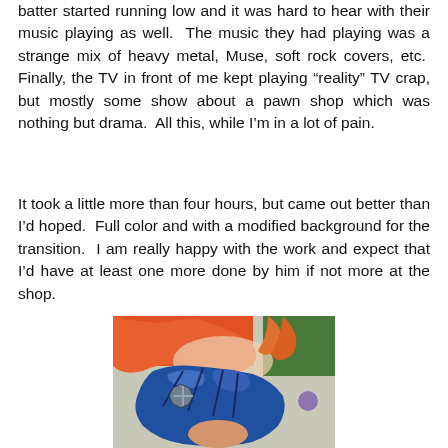batter started running low and it was hard to hear with their music playing as well.  The music they had playing was a strange mix of heavy metal, Muse, soft rock covers, etc.  Finally, the TV in front of me kept playing “reality” TV crap, but mostly some show about a pawn shop which was nothing but drama.  All this, while I’m in a lot of pain.
It took a little more than four hours, but came out better than I’d hoped.  Full color and with a modified background for the transition.  I am really happy with the work and expect that I’d have at least one more done by him if not more at the shop.
[Figure (photo): A colorful tattoo photo showing a fantasy character with blue hair/helmet and a red/orange flame or wing background, photographed on skin.]